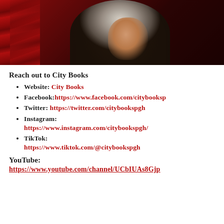[Figure (photo): Portrait photo of a woman with curly gray/silver hair against a red background, cropped to show face and upper shoulders]
Reach out to City Books
Website: City Books
Facebook: https://www.facebook.com/citybooksp
Twitter: https://twitter.com/citybookspgh
Instagram: https://www.instagram.com/citybookspgh/
TikTok: https://www.tiktok.com/@citybookspgh
YouTube: https://www.youtube.com/channel/UCbIUAs8Gjp